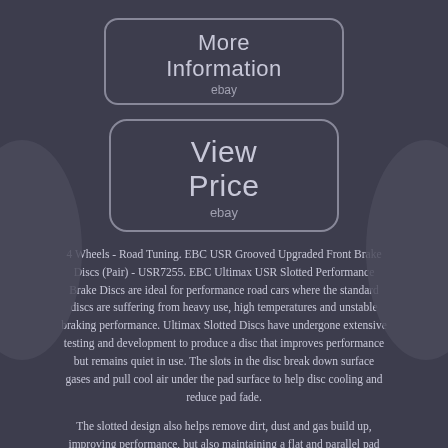[Figure (other): Button with text 'More Information' and 'ebay' below, styled with rounded rectangle border on dark background]
[Figure (other): Button with text 'View Price' and 'ebay' below, styled with rounded rectangle border on dark background]
4 Wheels - Road Tuning. EBC USR Grooved Upgraded Front Brake Discs (Pair) - USR7255. EBC Ultimax USR Slotted Performance Brake Discs are ideal for performance road cars where the standard discs are suffering from heavy use, high temperatures and unstable braking performance. Ultimax Slotted Discs have undergone extensive testing and development to produce a disc that improves performance but remains quiet in use. The slots in the disc break down surface gases and pull cool air under the pad surface to help disc cooling and reduce pad fade.
The slotted design also helps remove dirt, dust and gas build up, improving performance, but also maintaining a flat and parallel pad surface throughout the lifetime of the brake pads. EBC Ultimax discs have a chemically applied, black corrosion resistant finish for long lasting good looks.
PLEASE NOTE: Picture For Illustration Purposes Only. Supplied As A Pair Unless Otherwise Stated. Any subsequent orders can be delivered to an alternative address. ORDER NOTES - Due to the